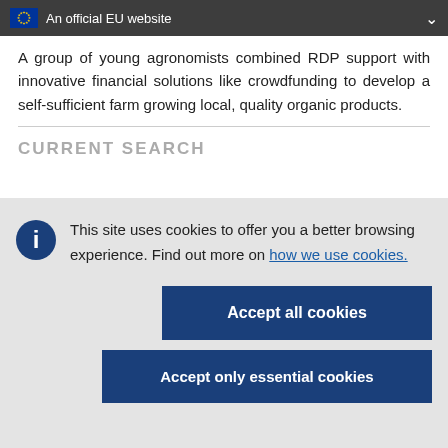An official EU website
A group of young agronomists combined RDP support with innovative financial solutions like crowdfunding to develop a self-sufficient farm growing local, quality organic products.
CURRENT SEARCH
This site uses cookies to offer you a better browsing experience. Find out more on how we use cookies.
Accept all cookies
Accept only essential cookies